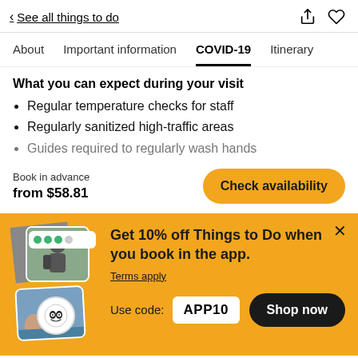< See all things to do
About | Important information | COVID-19 | Itinerary
What you can expect during your visit
Regular temperature checks for staff
Regularly sanitized high-traffic areas
Guides required to regularly wash hands
Book in advance
from $58.81
Get 10% off Things to Do when you book in the app.
Terms apply
Use code: APP10
Shop now